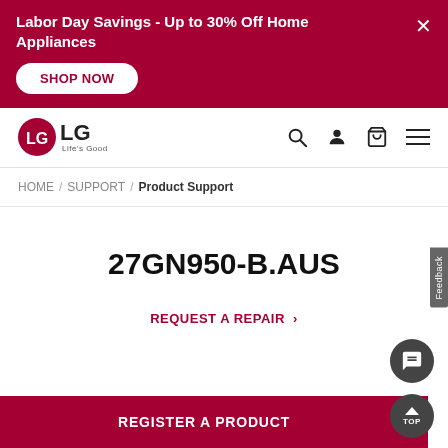Labor Day Savings - Up to 30% Off Home Appliances
[Figure (logo): LG logo with 'Life's Good' tagline]
HOME / SUPPORT / Product Support
27GN950-B.AUS
REQUEST A REPAIR >
REGISTER A PRODUCT